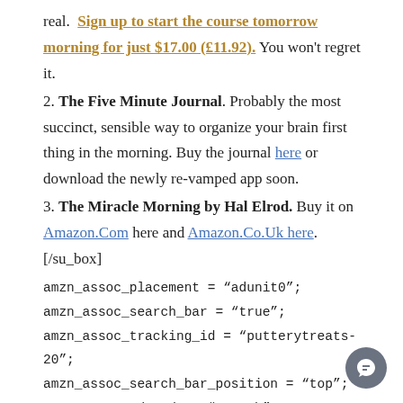real. Sign up to start the course tomorrow morning for just $17.00 (£11.92). You won't regret it.
2. The Five Minute Journal. Probably the most succinct, sensible way to organize your brain first thing in the morning. Buy the journal here or download the newly re-vamped app soon.
3. The Miracle Morning by Hal Elrod. Buy it on Amazon.Com here and Amazon.Co.Uk here. [/su_box]
amzn_assoc_placement = "adunit0";
amzn_assoc_search_bar = "true";
amzn_assoc_tracking_id = "putterytreats-20";
amzn_assoc_search_bar_position = "top";
amzn_assoc_ad_mode = "search";
amzn_assoc_ad_type = "smart";
amzn_assoc_marketplace = "amazon";